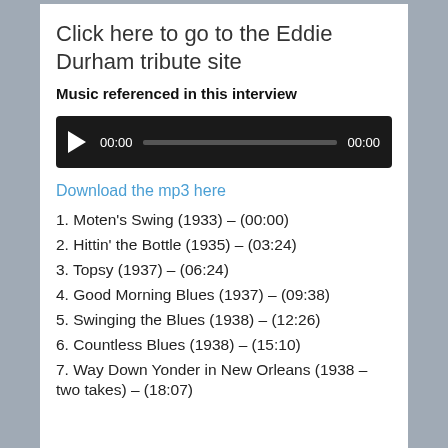Click here to go to the Eddie Durham tribute site
Music referenced in this interview
[Figure (other): Audio player widget with play button, time display 00:00, progress bar, and end time 00:00]
Download the mp3 here
1. Moten's Swing (1933) – (00:00)
2. Hittin' the Bottle (1935) – (03:24)
3. Topsy (1937) – (06:24)
4. Good Morning Blues (1937) – (09:38)
5. Swinging the Blues (1938) – (12:26)
6. Countless Blues (1938) – (15:10)
7. Way Down Yonder in New Orleans (1938 – two takes) – (18:07)